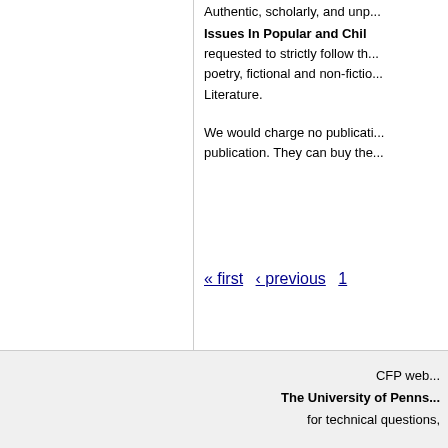Authentic, scholarly, and unp...
Issues In Popular and Chil... requested to strictly follow th... poetry, fictional and non-fictio... Literature.
We would charge no publicati... publication. They can buy the...
« first ‹ previous 1
CFP web... The University of Penns... for technical questions,